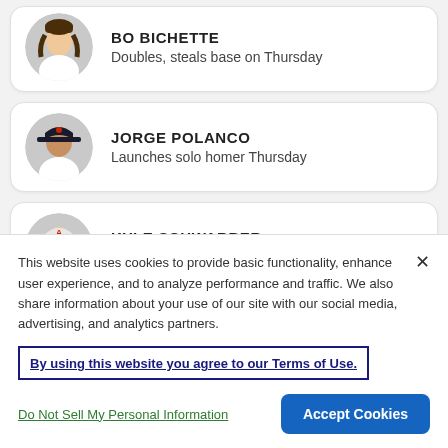BO BICHETTE
Doubles, steals base on Thursday
JORGE POLANCO
Launches solo homer Thursday
KYLE SCHWARBER
Hits 35th home run of the season on Thursday
AARON NOLA
Tosses complete-game shutout against Reds on
This website uses cookies to provide basic functionality, enhance user experience, and to analyze performance and traffic. We also share information about your use of our site with our social media, advertising, and analytics partners.
By using this website you agree to our Terms of Use.
Do Not Sell My Personal Information
Accept Cookies